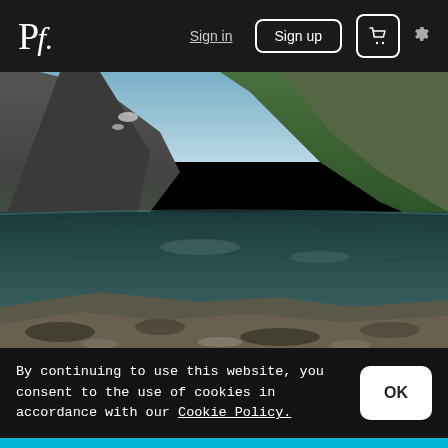Pf. | Sign in | Sign up | [cart] | [settings]
[Figure (photo): Scenic Norwegian fjord landscape with still water reflecting steep rocky mountains with green vegetation. Clear rocky foreground with seaweed, calm reflective water in the middle, dramatic cliffs and snow patches in the background.]
By continuing to use this website, you consent to the use of cookies in accordance with our Cookie Policy.
OK